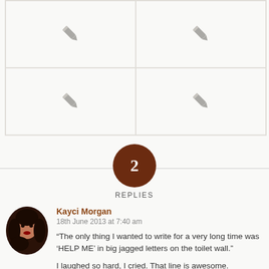[Figure (illustration): Four image placeholder cells arranged in a 2x2 grid, each showing a pencil/edit icon in gray on a light background]
[Figure (infographic): A dark brown circle with the number 2 in white, centered over a horizontal divider line, with the word REPLIES below]
Kayci Morgan
18th June 2013 at 7:40 am
“The only thing I wanted to write for a very long time was ‘HELP ME’ in big jagged letters on the toilet wall.”

I laughed so hard, I cried. That line is awesome.

Reply